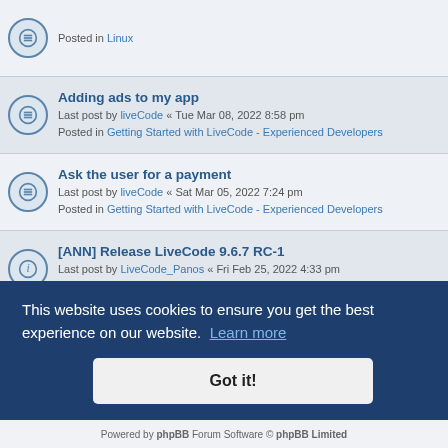Posted in Linux
Adding ads to my app
Last post by liveCode « Tue Mar 08, 2022 8:58 pm
Posted in Getting Started with LiveCode - Experienced Developers
Ask the user for a payment
Last post by liveCode « Sat Mar 05, 2022 7:24 pm
Posted in Getting Started with LiveCode - Experienced Developers
[ANN] Release LiveCode 9.6.7 RC-1
Last post by LiveCode_Panos « Fri Feb 25, 2022 4:33 pm
Posted in Announcements
LiveCode as a whiteboard
Last post by richmond62 « Mon Feb 14, 2022 10:16 am
Posted in Off-Topic
Camera black
Last post by tyarmsteadBUSuSfT « Thu Feb 10, 2022 2:25 am
Posted in Getting Started with LiveCode - Complete Beginners
This website uses cookies to ensure you get the best experience on our website. Learn more
Got it!
UTC+01:00